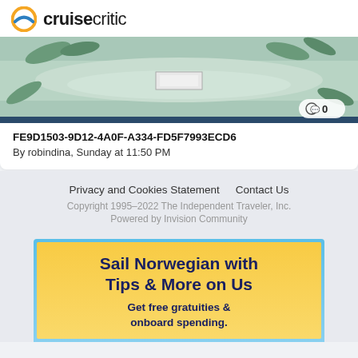cruisecritic
[Figure (photo): Close-up photo of folded fabric/clothing with tropical leaf pattern, light blue and green tones, with a comment bubble icon showing '0' in bottom right corner]
FE9D1503-9D12-4A0F-A334-FD5F7993ECD6
By robindina, Sunday at 11:50 PM
Privacy and Cookies Statement   Contact Us
Copyright 1995–2022 The Independent Traveler, Inc.
Powered by Invision Community
[Figure (illustration): Advertisement banner for Norwegian Cruise Line: 'Sail Norwegian with Tips & More on Us. Get free gratuities & onboard spending.' Yellow background with blue border.]